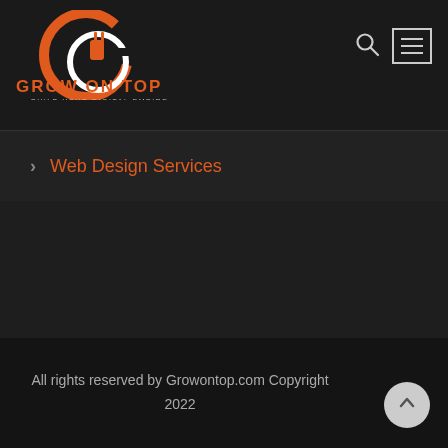[Figure (logo): Grow On Top logo — orange circular G with white inner circle containing a power plug icon, orange text GROW ON TOP, white smaller text BUILD YOUR DIGITAL EMPIRE]
> Web Design Services
All rights reserved by Growontop.com Copyright 2022